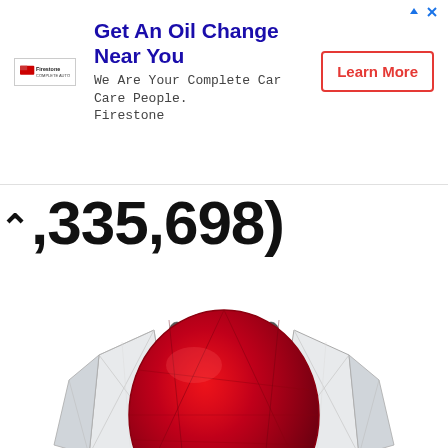[Figure (other): Firestone advertisement banner: Get An Oil Change Near You. We Are Your Complete Car Care People. Firestone. Learn More button.]
(335,698)
[Figure (photo): A luxury ruby and diamond ring. Large oval red ruby center stone flanked by two trapezoid/shield-cut white diamonds set in a silver/platinum band.]